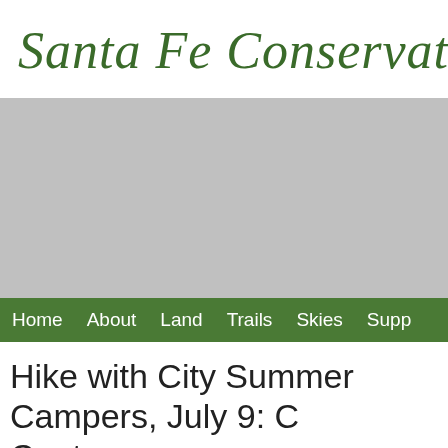Santa Fe Conservation T
[Figure (photo): Large hero image, gray placeholder]
Home  About  Land  Trails  Skies  Supp
Hike with City Summer Campers, July 9: C Center
Eight summer campers and staff members from the Carlos Ortega Teen Center joined SFCT staff